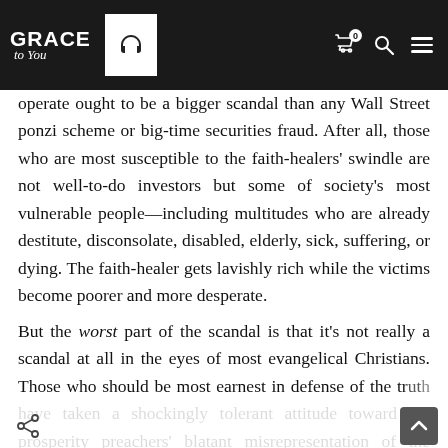Grace to You — navigation bar with logo, headphone icon, cart icon (badge: 0), search icon, menu icon
...thanks to television, have become the best-known face of Christianity worldwide. The scam they operate ought to be a bigger scandal than any Wall Street ponzi scheme or big-time securities fraud. After all, those who are most susceptible to the faith-healers' swindle are not well-to-do investors but some of society's most vulnerable people—including multitudes who are already destitute, disconsolate, disabled, elderly, sick, suffering, or dying. The faith-healer gets lavishly rich while the victims become poorer and more desperate.
But the worst part of the scandal is that it's not really a scandal at all in the eyes of most evangelical Christians. Those who should be most earnest in defense of the truth have taken a shockingly tolerant attitude toward the prosperity preachers' blatant misrepresentation of the gospel and their wanton exploitation of needy people.